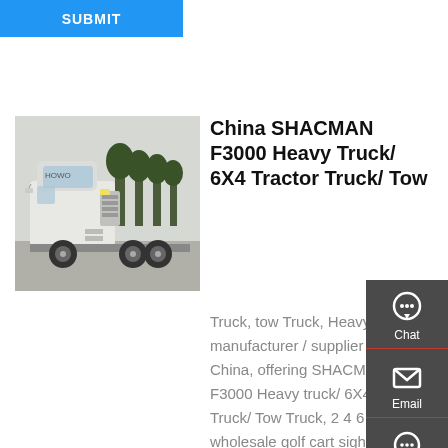[Figure (screenshot): Blue SUBMIT button bar at top left]
[Figure (photo): Photo of a white SHACMAN F3000 heavy truck tractor cab, parked outdoors with trees in background]
China SHACMAN F3000 Heavy Truck/ 6X4 Tractor Truck/ Tow
Truck, tow Truck, Heavy Truck manufacturer / supplier in China, offering SHACMAN F3000 Heavy truck/ 6X4 Tractor Truck/ Tow Truck, 2 4 6 8 seats wholesale golf cart sightseeing vehicle/ electric utility golf car,
[Figure (infographic): Side panel with Chat, Email, Contact, and Top navigation icons on a dark grey background]